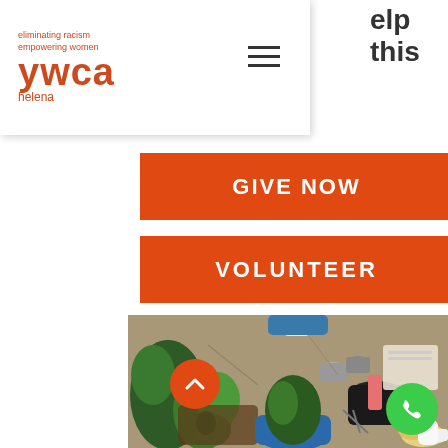[Figure (logo): YWCA Helena logo with tagline 'eliminating racism empowering women' in orange/red]
[Figure (other): Hamburger menu icon (three horizontal lines)]
elp this
[Figure (other): Orange button with text GIVE NOW]
[Figure (other): Orange button with text VOLUNTEER]
[Figure (photo): Overhead view of people gardening/potting plants with gloved hands, pots, soil and plants visible. Orange circle scroll-up button and green phone button overlaid.]